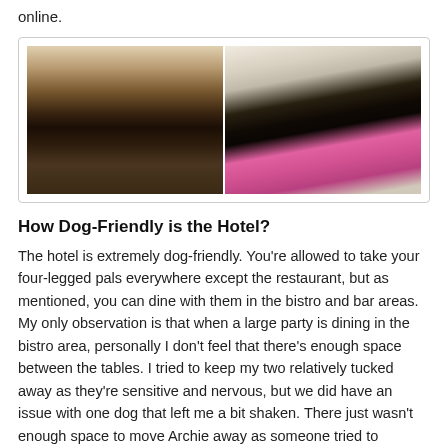online.
[Figure (photo): Two dog photos side by side: a Yorkshire Terrier standing indoors on the left, and a black Dachshund wearing a pink harness on the right, inside a bordered white frame.]
How Dog-Friendly is the Hotel?
The hotel is extremely dog-friendly. You're allowed to take your four-legged pals everywhere except the restaurant, but as mentioned, you can dine with them in the bistro and bar areas. My only observation is that when a large party is dining in the bistro area, personally I don't feel that there's enough space between the tables. I tried to keep my two relatively tucked away as they're sensitive and nervous, but we did have an issue with one dog that left me a bit shaken. There just wasn't enough space to move Archie away as someone tried to "introduce" their dog to him without asking